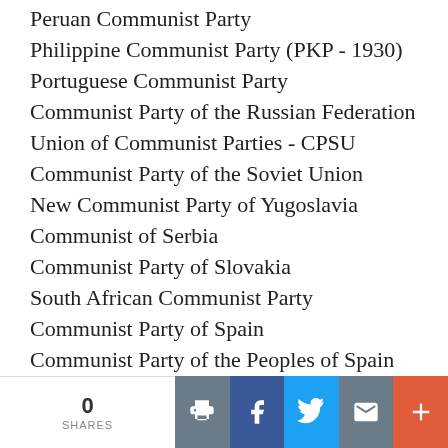Peruan Communist Party
Philippine Communist Party (PKP - 1930)
Portuguese Communist Party
Communist Party of the Russian Federation
Union of Communist Parties - CPSU
Communist Party of the Soviet Union
New Communist Party of Yugoslavia
Communist of Serbia
Communist Party of Slovakia
South African Communist Party
Communist Party of Spain
Communist Party of the Peoples of Spain
Communists of Catalonia
Galizan People's Union
0 SHARES | Print | Facebook | Twitter | Email | More